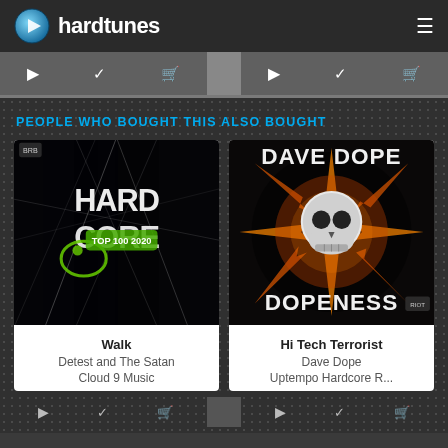hardtunes
PEOPLE WHO BOUGHT THIS ALSO BOUGHT
[Figure (photo): Album art for Hardcore Top 100 2020 compilation — dark background with shattered glass and stylized text reading HARDCORE TOP 100 2020]
Walk
Detest and The Satan
Cloud 9 Music
[Figure (photo): Album art for Dave Dope - Dopeness — dark background with skull and fire explosion, text reading DAVE DOPE DOPENESS]
Hi Tech Terrorist
Dave Dope
Uptempo Hardcore R...